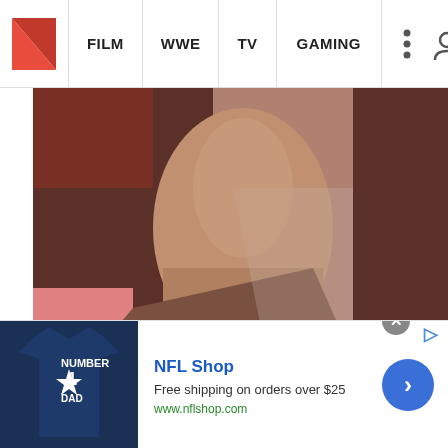WhatCulture.com — Navigation: FILM | WWE | TV | GAMING
[Figure (photo): Hero image of a woman with dark hair, partially obscured, with WhatCulture.com watermark overlay]
8 More Movie Trailers That Blatantly Lied To You
[Figure (infographic): Gray section with lighter gray triangular shape]
NFL Shop — Free shipping on orders over $25 — www.nflshop.com